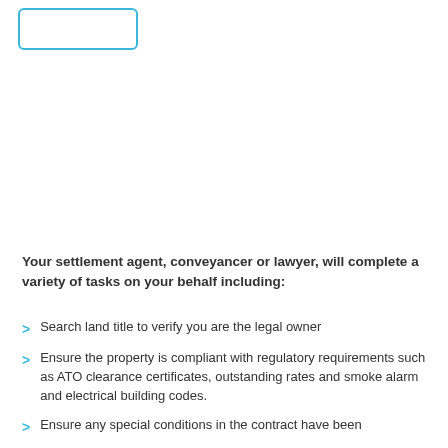[Figure (other): A rectangular box with a cyan/teal blue border at the top left of the page]
Your settlement agent, conveyancer or lawyer, will complete a variety of tasks on your behalf including:
Search land title to verify you are the legal owner
Ensure the property is compliant with regulatory requirements such as ATO clearance certificates, outstanding rates and smoke alarm and electrical building codes.
Ensure any special conditions in the contract have been